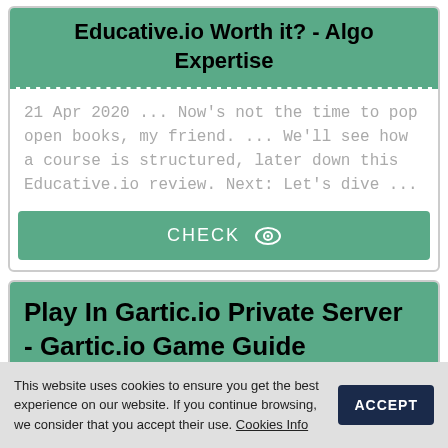Educative.io Worth it? - Algo Expertise
21 Apr 2020 ... Now's not the time to pop open books, my friend. ... We'll see how a course is structured, later down this Educative.io review. Next: Let's dive ...
CHECK
Play In Gartic.io Private Server - Gartic.io Game Guide
This website uses cookies to ensure you get the best experience on our website. If you continue browsing, we consider that you accept their use. Cookies Info